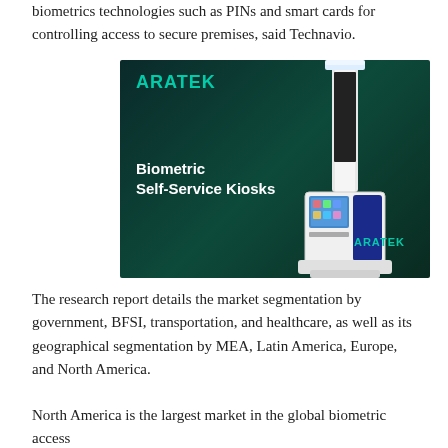biometrics technologies such as PINs and smart cards for controlling access to secure premises, said Technavio.
[Figure (illustration): ARATEK advertisement showing a Biometric Self-Service Kiosk — a tall white and blue kiosk with a screen and scanner, on a dark teal gradient background. The ARATEK logo appears at top left in teal, and 'Biometric Self-Service Kiosks' text is in white bold on the left side. The ARATEK logo also appears near the kiosk base.]
The research report details the market segmentation by government, BFSI, transportation, and healthcare, as well as its geographical segmentation by MEA, Latin America, Europe, and North America.
North America is the largest market in the global biometric access